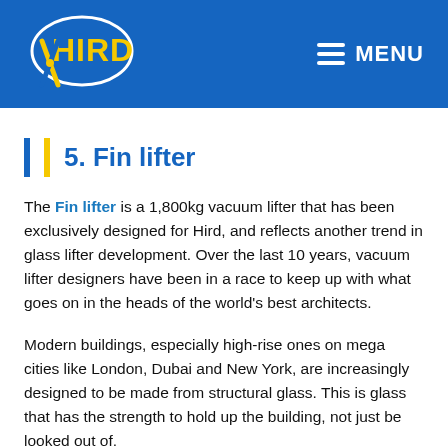HIRD | MENU
5. Fin lifter
The Fin lifter is a 1,800kg vacuum lifter that has been exclusively designed for Hird, and reflects another trend in glass lifter development. Over the last 10 years, vacuum lifter designers have been in a race to keep up with what goes on in the heads of the world's best architects.
Modern buildings, especially high-rise ones on mega cities like London, Dubai and New York, are increasingly designed to be made from structural glass. This is glass that has the strength to hold up the building, not just be looked out of.